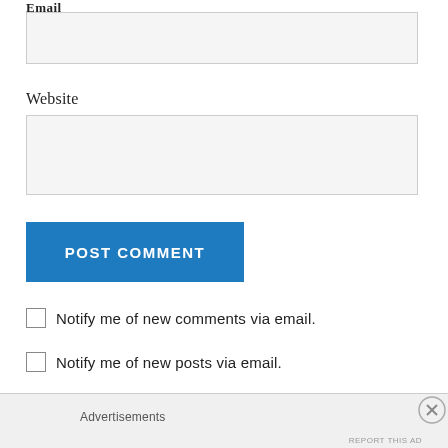Email
[Figure (screenshot): Empty email input text field with light gray background and border]
Website
[Figure (screenshot): Empty website input text field with light gray background and border]
POST COMMENT
Notify me of new comments via email.
Notify me of new posts via email.
Advertisements
REPORT THIS AD